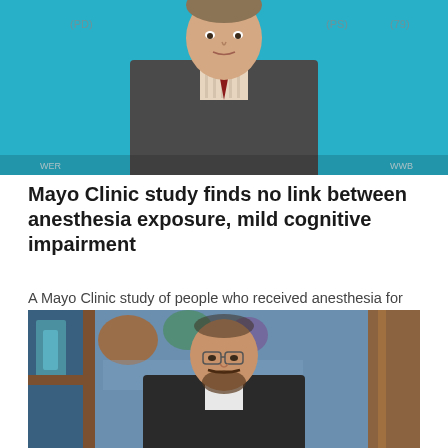[Figure (photo): A man in a dark suit and striped tie speaking in front of a teal/blue broadcast background with TV logos visible]
Mayo Clinic study finds no link between anesthesia exposure, mild cognitive impairment
A Mayo Clinic study of people who received anesthesia for surgery after age 40 found no association between the anesthesia and the development of mild cognitive impairment later in life.
[Figure (photo): A young man with glasses and a beard wearing a dark suit with a white shirt, seated in front of a decorative stained-glass style background with wooden elements]